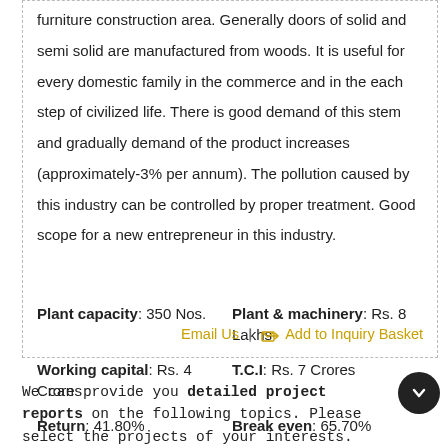furniture construction area. Generally doors of solid and semi solid are manufactured from woods. It is useful for every domestic family in the commerce and in the each step of civilized life. There is good demand of this stem and gradually demand of the product increases (approximately-3% per annum). The pollution caused by this industry can be controlled by proper treatment. Good scope for a new entrepreneur in this industry.
Plant capacity: 350 Nos.    Plant & machinery: Rs. 8 Lakhs
Working capital: Rs. 4 Crores    T.C.I: Rs. 7 Crores
Return: 41.80%    Break even: 65.70%
Email Us | Add to Inquiry Basket
We can provide you detailed project reports on the following topics. Please select the projects of your interests.